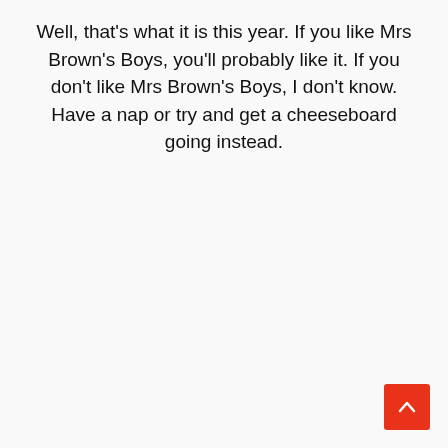Well, that's what it is this year. If you like Mrs Brown's Boys, you'll probably like it. If you don't like Mrs Brown's Boys, I don't know. Have a nap or try and get a cheeseboard going instead.
[Figure (other): Red scroll-to-top button with upward-pointing chevron arrow, positioned in the bottom-right corner]